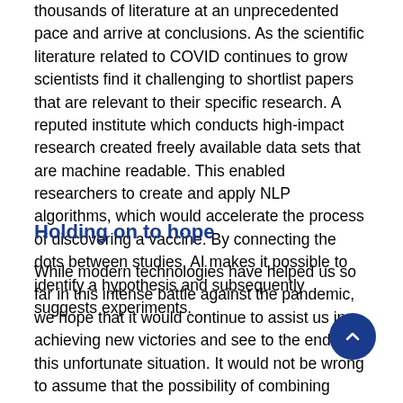thousands of literature at an unprecedented pace and arrive at conclusions. As the scientific literature related to COVID continues to grow scientists find it challenging to shortlist papers that are relevant to their specific research. A reputed institute which conducts high-impact research created freely available data sets that are machine readable. This enabled researchers to create and apply NLP algorithms, which would accelerate the process of discovering a vaccine. By connecting the dots between studies, AI makes it possible to identify a hypothesis and subsequently suggests experiments.
Holding on to hope
While modern technologies have helped us so far in this intense battle against the pandemic, we hope that it would continue to assist us in achieving new victories and see to the end of this unfortunate situation. It would not be wrong to assume that the possibility of combining AI... and other measures consists of next-gen advances...